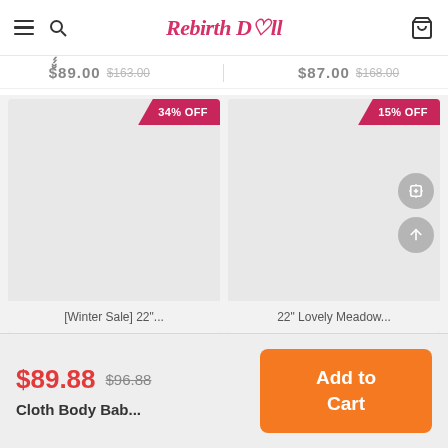Rebirth Doll — navigation header with menu, search, brand logo, and cart icon
$89.00  $163.00    $87.00  $168.00
[Figure (photo): Product card with 34% OFF discount badge, light gray placeholder image area]
[Figure (photo): Product card with 15% OFF discount badge, light gray placeholder image area, share and scroll-to-top floating buttons]
[Winter Sale] 22"...    22" Lovely Meadow...
$89.88  $96.88  Cloth Body Bab...  Add to Cart